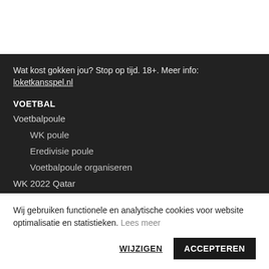Wat kost gokken jou? Stop op tijd. 18+. Meer info: loketkansspel.nl
VOETBAL
Voetbalpoule
WK poule
Eredivisie poule
Voetbalpoule organiseren
WK 2022 Qatar
WK 2022 speelschema
Wij gebruiken functionele en analytische cookies voor website optimalisatie en statistieken. Lees meer
WIJZIGEN
ACCEPTEREN